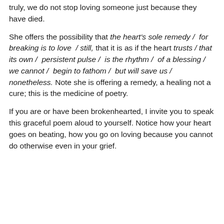truly, we do not stop loving someone just because they have died.
She offers the possibility that the heart's sole remedy / for breaking is to love / still, that it is as if the heart trusts / that its own / persistent pulse / is the rhythm / of a blessing / we cannot / begin to fathom / but will save us / nonetheless. Note she is offering a remedy, a healing not a cure; this is the medicine of poetry.
If you are or have been brokenhearted, I invite you to speak this graceful poem aloud to yourself. Notice how your heart goes on beating, how you go on loving because you cannot do otherwise even in your grief.